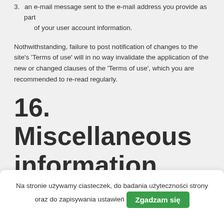3. an e-mail message sent to the e-mail address you provide as part of your user account information.
Nothwithstanding, failure to post notification of changes to the site's 'Terms of use' will in no way invalidate the application of the new or changed clauses of the 'Terms of use', which you are recommended to re-read regularly.
16. Miscellaneous information
1. In the event that any provision of these 'Terms of use' is deemed to conflict with legislation by a court with jurisdiction over the parties
Na stronie używamy ciasteczek, do badania użyteczności strony oraz do zapisywania ustawień